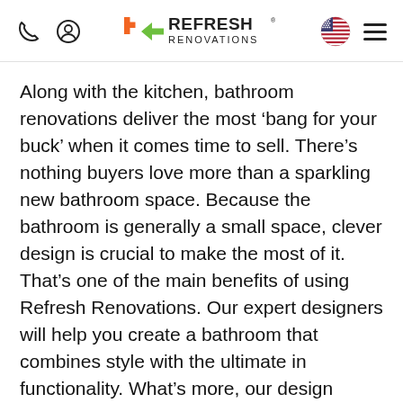Refresh Renovations - navigation header with phone icon, user icon, logo, US flag, and hamburger menu
Along with the kitchen, bathroom renovations deliver the most ‘bang for your buck’ when it comes time to sell. There’s nothing buyers love more than a sparkling new bathroom space. Because the bathroom is generally a small space, clever design is crucial to make the most of it. That’s one of the main benefits of using Refresh Renovations. Our expert designers will help you create a bathroom that combines style with the ultimate in functionality. What’s more, our design process lets you envisage exactly how it w… (This helps you get the little things right t… make the difference – whether it’s the heig… the shower, the way the doors open, or the